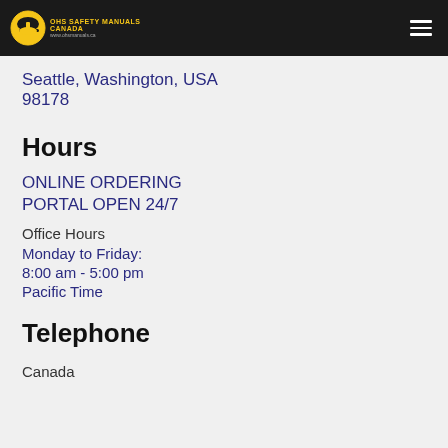OHS Safety Manuals Canada
USA
5302 South Wallace Street
Seattle, Washington, USA
98178
Hours
ONLINE ORDERING
PORTAL OPEN 24/7
Office Hours
Monday to Friday:
8:00 am - 5:00 pm
Pacific Time
Telephone
Canada